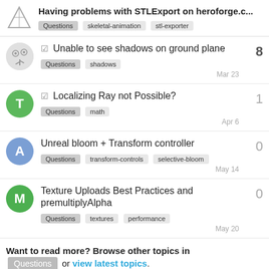Having problems with STLExport on heroforge.c... | Questions | skeletal-animation | stl-exporter
Unable to see shadows on ground plane | Questions | shadows | Mar 23 | 8
Localizing Ray not Possible? | Questions | math | Apr 6 | 1
Unreal bloom + Transform controller | Questions | transform-controls | selective-bloom | May 14 | 0
Texture Uploads Best Practices and premultiplyAlpha | Questions | textures | performance | May 20 | 0
Want to read more? Browse other topics in Questions or view latest topics.